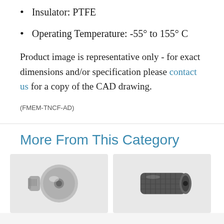Insulator: PTFE
Operating Temperature: -55° to 155° C
Product image is representative only - for exact dimensions and/or specification please contact us for a copy of the CAD drawing.
(FMEM-TNCF-AD)
More From This Category
[Figure (photo): Metallic RF connector, silvery threaded female connector adapter]
[Figure (photo): Metallic RF connector, dark knurled male connector adapter]